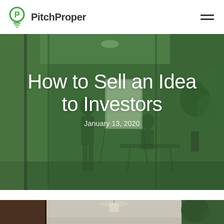PitchProper
[Figure (photo): Hero banner with green-tinted overlay of an office scene showing people in a meeting room with a whiteboard. Large white text overlaid reads 'How to Sell an Idea to Investors' with date January 13, 2020.]
How to Sell an Idea to Investors
January 13, 2020
[Figure (photo): Bottom photo strip showing a modern office interior with pendant lights and plants.]